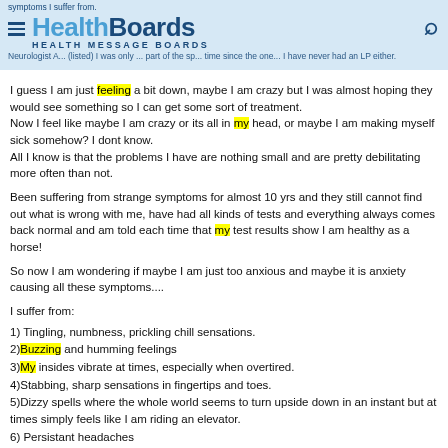symptoms I suffer from. Neurologist A... (listed) I was only ... part of the sp... time since the one... I have never had an LP either.
I guess I am just feeling a bit down, maybe I am crazy but I was almost hoping they would see something so I can get some sort of treatment.
Now I feel like maybe I am crazy or its all in my head, or maybe I am making myself sick somehow? I dont know.
All I know is that the problems I have are nothing small and are pretty debilitating more often than not.
Been suffering from strange symptoms for almost 10 yrs and they still cannot find out what is wrong with me, have had all kinds of tests and everything always comes back normal and am told each time that my test results show I am healthy as a horse!
So now I am wondering if maybe I am just too anxious and maybe it is anxiety causing all these symptoms....
I suffer from:
1) Tingling, numbness, prickling chill sensations.
2)Buzzing and humming feelings
3)My insides vibrate at times, especially when overtired.
4)Stabbing, sharp sensations in fingertips and toes.
5)Dizzy spells where the whole world seems to turn upside down in an instant but at times simply feels like I am riding an elevator.
6) Persistant headaches
7) Muscles twitch constantly, usually calves, thighs, upper arms, back, stomach.
8) My feet are either constantly freezing as if they are in blocks of ice or either so hot and feel swollen when they are not.
9) feel like bugs are crawling on my forehead, and lower legs